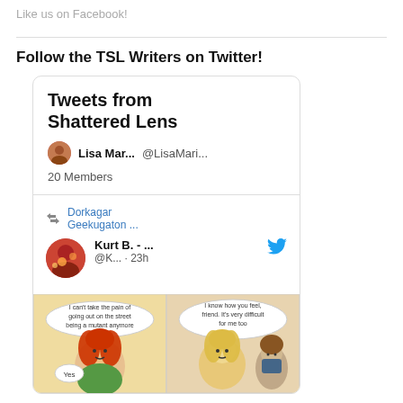Like us on Facebook!
Follow the TSL Writers on Twitter!
[Figure (screenshot): Twitter widget showing 'Tweets from Shattered Lens' list by Lisa Mar... @LisaMari... with 20 Members. A tweet section shows a retweet by Dorkagar Geekugaton ..., with Kurt B. - ... @K... · 23h, and a comic strip image below showing panels with speech bubbles: 'I can't take the pain of going out on the street being a mutant anymore', 'I know how you feel, friend. It's very difficult for me too', and 'Yes']